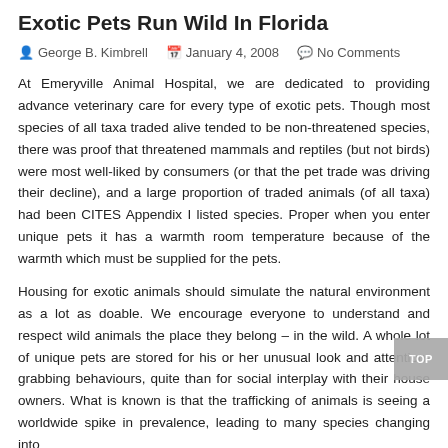Exotic Pets Run Wild In Florida
George B. Kimbrell   January 4, 2008   No Comments
At Emeryville Animal Hospital, we are dedicated to providing advance veterinary care for every type of exotic pets. Though most species of all taxa traded alive tended to be non-threatened species, there was proof that threatened mammals and reptiles (but not birds) were most well-liked by consumers (or that the pet trade was driving their decline), and a large proportion of traded animals (of all taxa) had been CITES Appendix I listed species. Proper when you enter unique pets it has a warmth room temperature because of the warmth which must be supplied for the pets.
Housing for exotic animals should simulate the natural environment as a lot as doable. We encourage everyone to understand and respect wild animals the place they belong – in the wild. A whole lot of unique pets are stored for his or her unusual look and attention-grabbing behaviours, quite than for social interplay with their house owners. What is known is that the trafficking of animals is seeing a worldwide spike in prevalence, leading to many species changing into